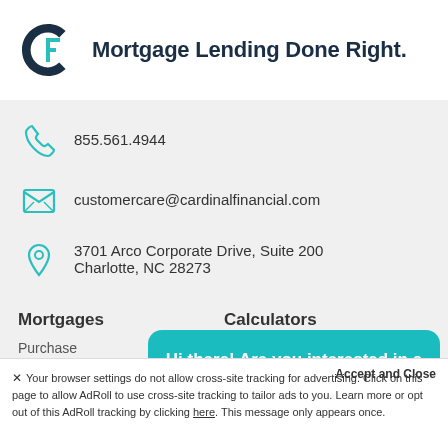[Figure (logo): Cardinal Financial logo — circular arrow C with F, teal and dark navy colors]
Mortgage Lending Done Right.
855.561.4944
customercare@cardinalfinancial.com
3701 Arco Corporate Drive, Suite 200
Charlotte, NC 28273
Mortgages
Purchase
Refinance
Home Loans
Calculators
Mo...
Re...
Aff...
Hi there! Are you interested in a home loan? Chat with us.
Accept and Close
✕ Your browser settings do not allow cross-site tracking for advertising. Click on this page to allow AdRoll to use cross-site tracking to tailor ads to you. Learn more or opt out of this AdRoll tracking by clicking here. This message only appears once.